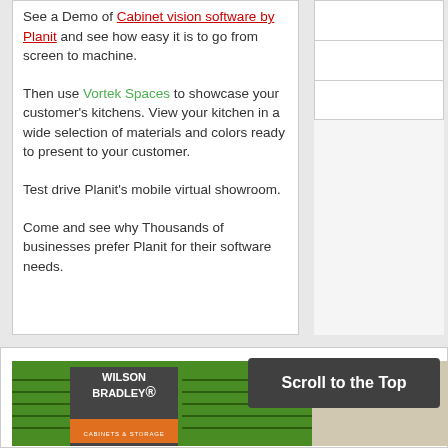See a Demo of Cabinet vision software by Planit and see how easy it is to go from screen to machine.

Then use Vortek Spaces to showcase your customer's kitchens. View your kitchen in a wide selection of materials and colors ready to present to your customer.

Test drive Planit's mobile virtual showroom.

Come and see why Thousands of businesses prefer Planit for their software needs.
[Figure (screenshot): Wilson Bradley Cabinets & Storage banner advertisement with green background and company logo]